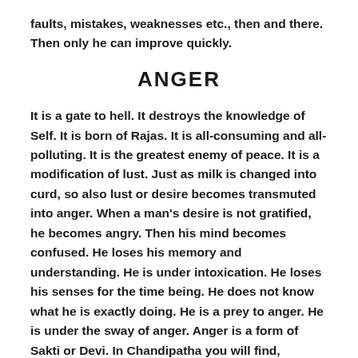faults, mistakes, weaknesses etc., then and there. Then only he can improve quickly.
ANGER
It is a gate to hell. It destroys the knowledge of Self. It is born of Rajas. It is all-consuming and all-polluting. It is the greatest enemy of peace. It is a modification of lust. Just as milk is changed into curd, so also lust or desire becomes transmuted into anger. When a man's desire is not gratified, he becomes angry. Then his mind becomes confused. He loses his memory and understanding. He is under intoxication. He loses his senses for the time being. He does not know what he is exactly doing. He is a prey to anger. He is under the sway of anger. Anger is a form of Sakti or Devi. In Chandipatha you will find,